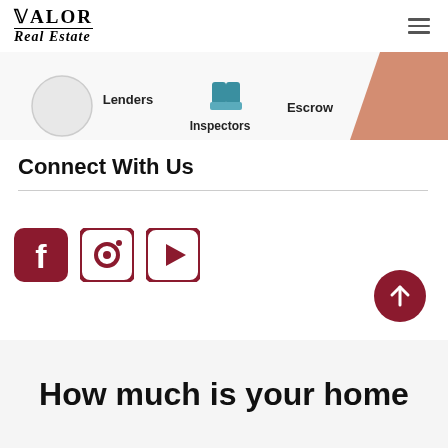Valor Real Estate
[Figure (illustration): Partial website banner showing illustrated icons for Lenders, Inspectors, and Escrow with cartoon figures]
Connect With Us
[Figure (infographic): Three social media icons: Facebook, Instagram, YouTube in dark red/crimson color]
[Figure (other): Back to top button — circular dark red button with upward arrow]
How much is your home